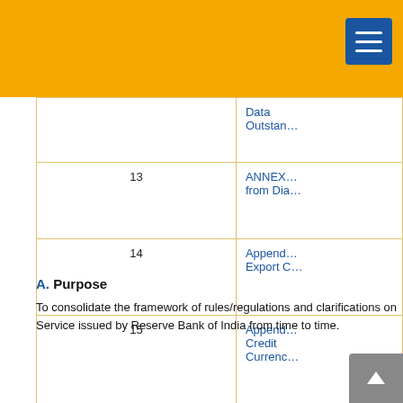|  | Sr. No. |  |
| --- | --- | --- |
|  |  | Data Outstan… |
|  | 13 | ANNEX… from Dia… |
|  | 14 | Append… Export C… |
|  | 15 | Append… Credit Currenc… |
|  | 16 | Append… Credit-C… Circular… |
A. Purpose
To consolidate the framework of rules/regulations and clarifications on Service issued by Reserve Bank of India from time to time.